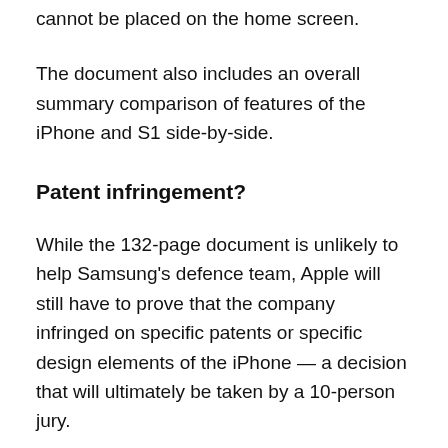cannot be placed on the home screen.
The document also includes an overall summary comparison of features of the iPhone and S1 side-by-side.
Patent infringement?
While the 132-page document is unlikely to help Samsung's defence team, Apple will still have to prove that the company infringed on specific patents or specific design elements of the iPhone — a decision that will ultimately be taken by a 10-person jury.
In the UK, the patent dispute between the